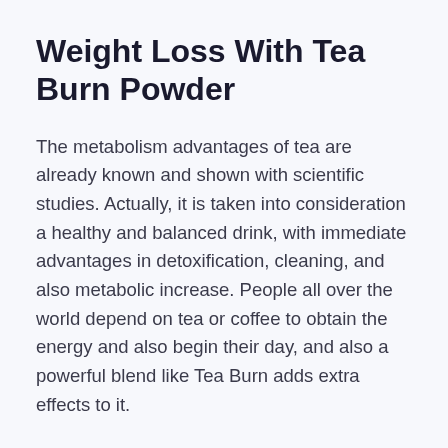Weight Loss With Tea Burn Powder
The metabolism advantages of tea are already known and shown with scientific studies. Actually, it is taken into consideration a healthy and balanced drink, with immediate advantages in detoxification, cleaning, and also metabolic increase. People all over the world depend on tea or coffee to obtain the energy and also begin their day, and also a powerful blend like Tea Burn adds extra effects to it.
You can add Tea Burn into any type of sort of tea, or coffee, according to your personal tastes. It can